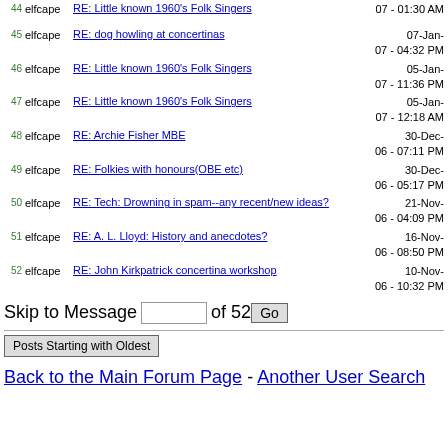44 elfcape RE: Little known 1960's Folk Singers 07 - 01:30 AM
45 elfcape RE: dog howling at concertinas 07-Jan-07 - 04:32 PM
46 elfcape RE: Little known 1960's Folk Singers 05-Jan-07 - 11:36 PM
47 elfcape RE: Little known 1960's Folk Singers 05-Jan-07 - 12:18 AM
48 elfcape RE: Archie Fisher MBE 30-Dec-06 - 07:11 PM
49 elfcape RE: Folkies with honours(OBE etc) 30-Dec-06 - 05:17 PM
50 elfcape RE: Tech: Drowning in spam--any recent/new ideas? 21-Nov-06 - 04:09 PM
51 elfcape RE: A. L. Lloyd: History and anecdotes? 16-Nov-06 - 08:50 PM
52 elfcape RE: John Kirkpatrick concertina workshop 10-Nov-06 - 10:32 PM
Skip to Message [  ] of 52 Go
Posts Starting with Oldest
Back to the Main Forum Page - Another User Search